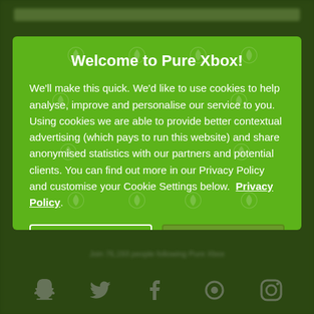[Figure (screenshot): Blurred green website background with social media icons at the bottom (Snapchat, Twitter, Facebook, another icon, Instagram) and a blurred top navigation bar.]
Welcome to Pure Xbox!
We'll make this quick. We'd like to use cookies to help analyse, improve and personalise our service to you. Using cookies we are able to provide better contextual advertising (which pays to run this website) and share anonymised statistics with our partners and potential clients. You can find out more in our Privacy Policy and customise your Cookie Settings below.  Privacy Policy
Customise
I agree